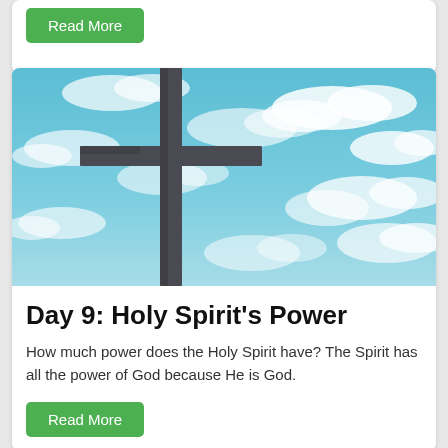[Figure (other): Partial card showing only a green Read More button at top of page]
[Figure (photo): Photograph of a tall dark metal cross against a blue sky with white clouds]
Day 9: Holy Spirit's Power
How much power does the Holy Spirit have? The Spirit has all the power of God because He is God.
Read More